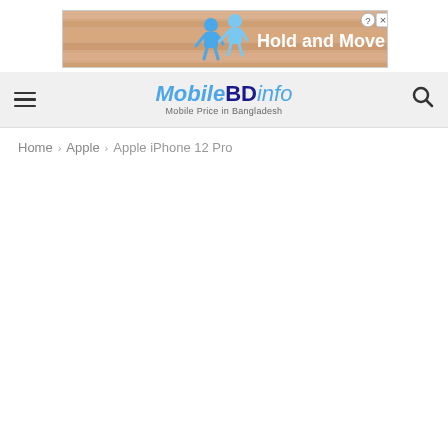[Figure (screenshot): Advertisement banner with 'Hold and Move' text and two animated figures, close/info icons top right]
MobileBDinfo — Mobile Price in Bangladesh
Home › Apple › Apple iPhone 12 Pro